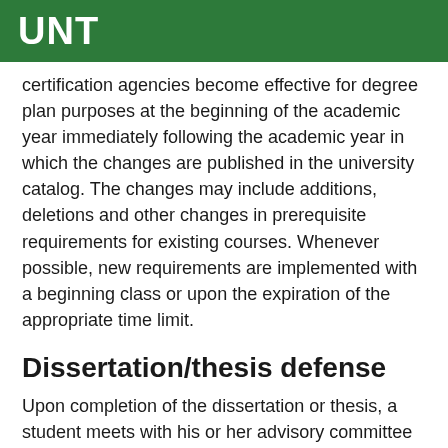UNT
certification agencies become effective for degree plan purposes at the beginning of the academic year immediately following the academic year in which the changes are published in the university catalog. The changes may include additions, deletions and other changes in prerequisite requirements for existing courses. Whenever possible, new requirements are implemented with a beginning class or upon the expiration of the appropriate time limit.
Dissertation/thesis defense
Upon completion of the dissertation or thesis, a student meets with his or her advisory committee to defend the content of the dissertation or thesis. After a student has successfully defended the paper and made